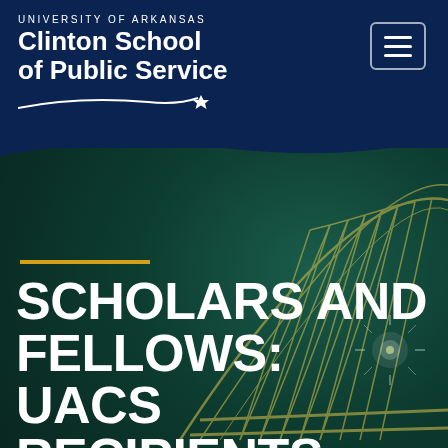University of Arkansas Clinton School of Public Service
[Figure (screenshot): University of Arkansas Clinton School of Public Service website header with logo, navigation hamburger menu, dark teal background with bridge structure overlay]
SCHOLARS AND FELLOWS: UACS RECIPIENTS